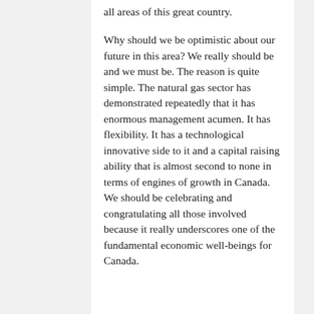all areas of this great country.
Why should we be optimistic about our future in this area? We really should be and we must be. The reason is quite simple. The natural gas sector has demonstrated repeatedly that it has enormous management acumen. It has flexibility. It has a technological innovative side to it and a capital raising ability that is almost second to none in terms of engines of growth in Canada. We should be celebrating and congratulating all those involved because it really underscores one of the fundamental economic well-beings for Canada.